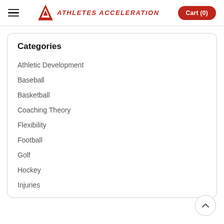ATHLETES ACCELERATION  Cart (0)
Categories
Athletic Development
Baseball
Basketball
Coaching Theory
Flexibility
Football
Golf
Hockey
Injuries